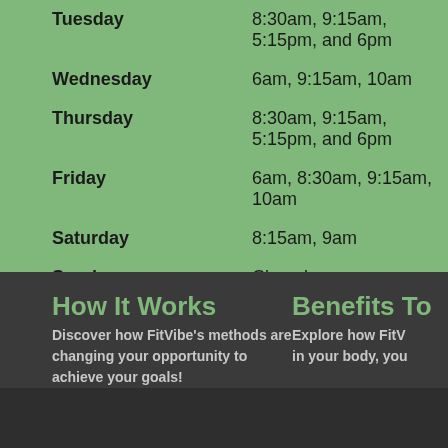| Day | Times |
| --- | --- |
| Tuesday | 8:30am, 9:15am, 5:15pm, and 6pm |
| Wednesday | 6am, 9:15am, 10am |
| Thursday | 8:30am, 9:15am, 5:15pm, and 6pm |
| Friday | 6am, 8:30am, 9:15am, 10am |
| Saturday | 8:15am, 9am |
| Sunday | Closed |
Check out FitVibe in action by watching our Video >
How It Works
Discover how FitVibe's methods are changing your opportunity to achieve your goals!
Benefits To
Explore how FitV... in your body, you...